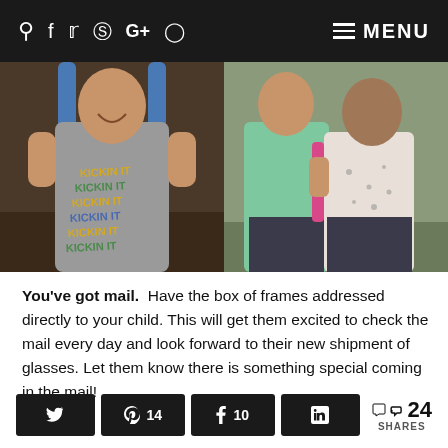Search  Facebook  Twitter  Pinterest  Google+  Instagram  MENU
[Figure (photo): Two side-by-side photos of children. Left: a young boy smiling, wearing a grey t-shirt that reads 'KICKIN IT' repeated multiple times, holding blue backpack straps. Right: two children hugging, one in a green/mint hoodie and one in a white patterned long-sleeve shirt, with dark pants.]
You've got mail.  Have the box of frames addressed directly to your child. This will get them excited to check the mail every day and look forward to their new shipment of glasses. Let them know there is something special coming in the mail!